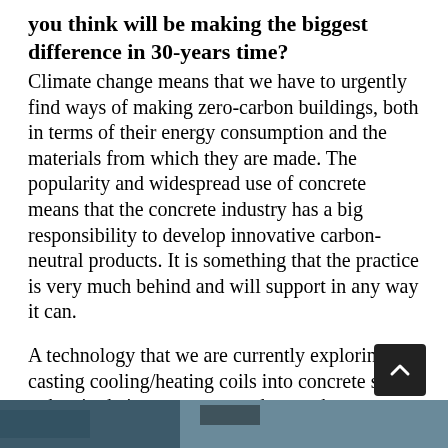you think will be making the biggest difference in 30-years time?
Climate change means that we have to urgently find ways of making zero-carbon buildings, both in terms of their energy consumption and the materials from which they are made. The popularity and widespread use of concrete means that the concrete industry has a big responsibility to develop innovative carbon-neutral products. It is something that the practice is very much behind and will support in any way it can.
A technology that we are currently exploring is casting cooling/heating coils into concrete slabs – the aim being to accommodate peak temperature loads without recourse to energy-intensive air conditioning systems.
[Figure (photo): Partial outdoor photo visible at the bottom of the page]